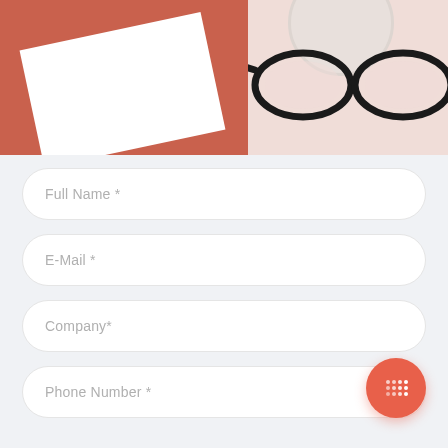[Figure (photo): Split photo: left half shows red/coral background with white blank card tilted diagonally; right half shows light pink/beige background with black reading glasses and partial white cup/saucer]
Full Name *
E-Mail *
Company*
Phone Number *